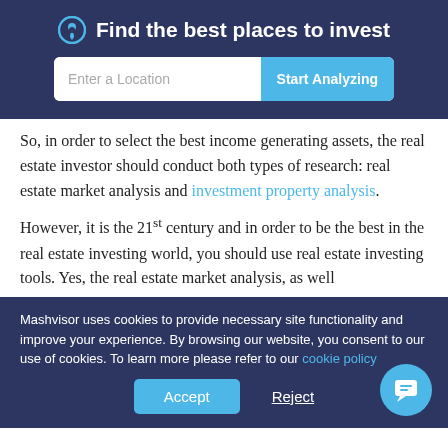Find the best places to invest
So, in order to select the best income generating assets, the real estate investor should conduct both types of research: real estate market analysis and investment property analysis.
However, it is the 21st century and in order to be the best in the real estate investing world, you should use real estate investing tools. Yes, the real estate market analysis, as well
Mashvisor uses cookies to provide necessary site functionality and improve your experience. By browsing our website, you consent to our use of cookies. To learn more please refer to our cookie policy